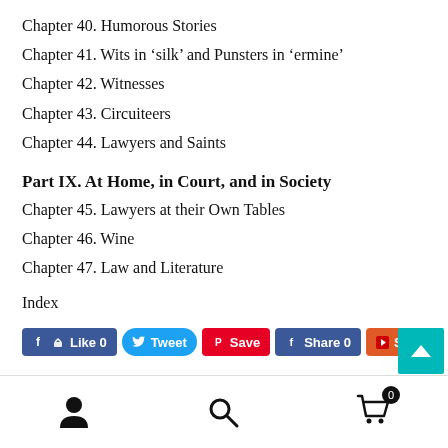Chapter 40. Humorous Stories
Chapter 41. Wits in ‘silk’ and Punsters in ‘ermine’
Chapter 42. Witnesses
Chapter 43. Circuiteers
Chapter 44. Lawyers and Saints
Part IX. At Home, in Court, and in Society
Chapter 45. Lawyers at their Own Tables
Chapter 46. Wine
Chapter 47. Law and Literature
Index
[Figure (screenshot): Social media sharing buttons: Like 0 (Facebook), Tweet (Twitter), Save (Pinterest), Share 0 (Facebook), Share (YouTube/orange), teal scroll-to-top button with up arrow, and LinkedIn Share button]
[Figure (screenshot): Footer navigation bar with person/account icon, search icon, and shopping cart icon with badge showing 0]